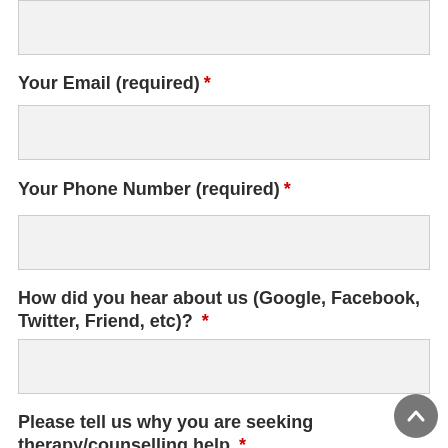(top input box — partial, cropped at top)
Your Email (required) *
(email input field)
Your Phone Number (required) *
(phone input field)
How did you hear about us (Google, Facebook, Twitter, Friend, etc)? *
(referral input field)
Please tell us why you are seeking therapy/counselling help *